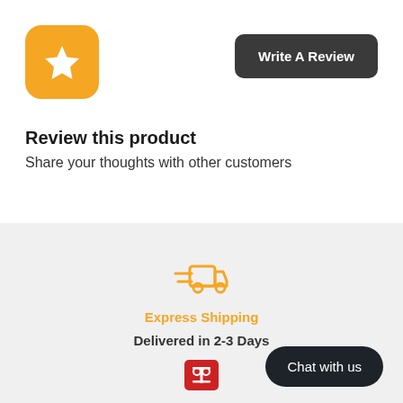[Figure (illustration): Orange rounded square icon with a white star shape in the center]
[Figure (illustration): Dark rounded rectangle button labeled Write A Review]
Review this product
Share your thoughts with other customers
[Figure (illustration): Orange delivery truck icon with speed lines on left side]
Express Shipping
Delivered in 2-3 Days
[Figure (illustration): Dark rounded pill button labeled Chat with us]
[Figure (logo): Red square logo with stylized figure icon]